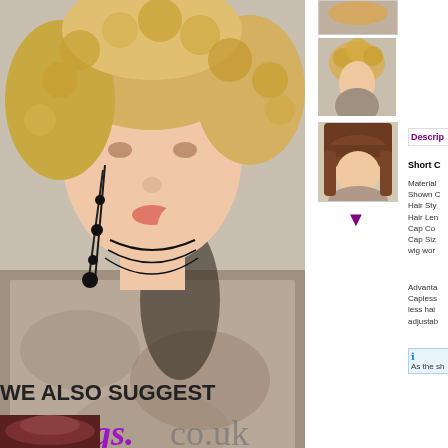[Figure (photo): Model wearing a short curly blonde wig with Ewigs.co.uk watermark overlay, shown from approximately chest up with black chain jewelry]
View large image >
[Figure (photo): Thumbnail of wig product - first thumbnail (top, partially visible)]
[Figure (photo): Thumbnail of short curly blonde wig - side/back view]
[Figure (photo): Thumbnail of longer brunette wig with bangs]
Descrip
Short C
Material Shown C Hair Sty Hair Len Cap Co Cap Siz wig wor
Advanta Capless less hai adjustab
As the sh
Tweet
WE ALSO SUGGEST
[Figure (photo): Partial thumbnail of a dark/brunette wig product suggestion at bottom of page]